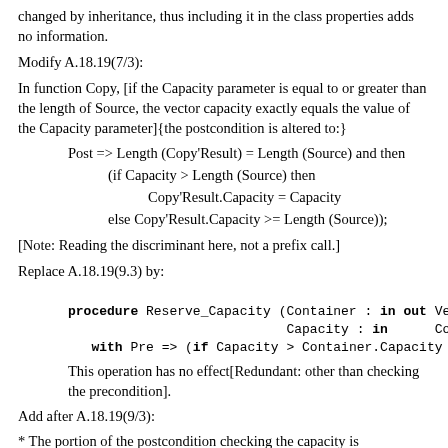changed by inheritance, thus including it in the class properties adds no information.
Modify A.18.19(7/3):
In function Copy, [if the Capacity parameter is equal to or greater than the length of Source, the vector capacity exactly equals the value of the Capacity parameter]{the postcondition is altered to:}
[Note: Reading the discriminant here, not a prefix call.]
Replace A.18.19(9.3) by:
procedure Reserve_Capacity (Container : in out Vecto
                            Capacity : in      Count
  with Pre => (if Capacity > Container.Capacity the
This operation has no effect[Redundant: other than checking the precondition].
Add after A.18.19(9/3):
* The portion of the postcondition checking the capacity is